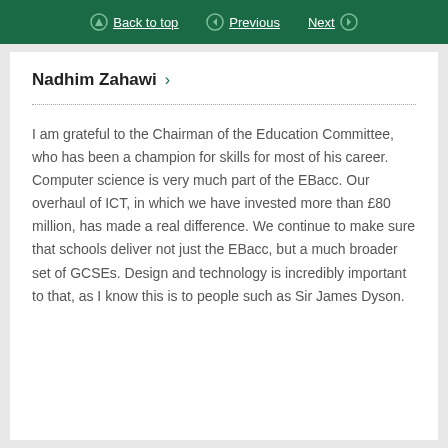Back to top  Previous  Next
Nadhim Zahawi >
I am grateful to the Chairman of the Education Committee, who has been a champion for skills for most of his career. Computer science is very much part of the EBacc. Our overhaul of ICT, in which we have invested more than £80 million, has made a real difference. We continue to make sure that schools deliver not just the EBacc, but a much broader set of GCSEs. Design and technology is incredibly important to that, as I know this is to people such as Sir James Dyson.